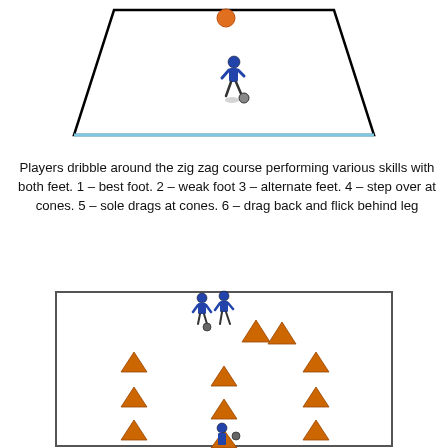[Figure (illustration): Soccer/football drill diagram showing a trapezoidal field outline with a player dribbling a ball in the center-lower area and another figure/ball near the top center.]
Players dribble around the zig zag course performing various skills with both feet. 1 – best foot. 2 – weak foot 3 – alternate feet. 4 – step over at cones. 5 – sole drags at cones. 6 – drag back and flick behind leg
[Figure (illustration): Soccer/football drill diagram showing a rectangular field with multiple orange cones arranged in a zig-zag pattern. Two players are shown near the top center interacting with cones. Cones are placed in three columns across the field.]